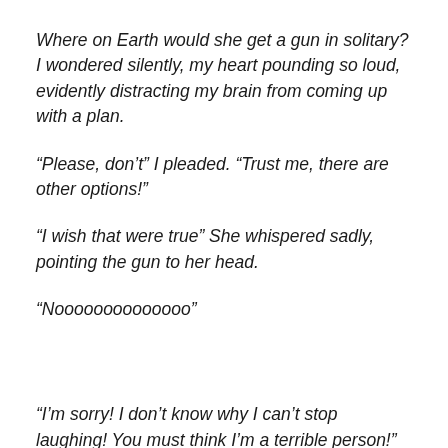Where on Earth would she get a gun in solitary? I wondered silently, my heart pounding so loud, evidently distracting my brain from coming up with a plan.
“Please, don’t” I pleaded. “Trust me, there are other options!”
“I wish that were true” She whispered sadly, pointing the gun to her head.
“Noooooooooooooo”
“I’m sorry! I don’t know why I can’t stop laughing! You must think I’m a terrible person!” Salma leaned back in her chair